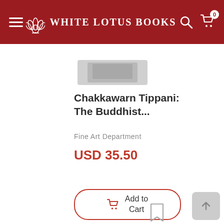White Lotus Books — navigation header with hamburger menu, logo, search and cart icons (cart count: 0)
[Figure (photo): Partially visible book cover thumbnail in gray tones]
Chakkawarn Tippani: The Buddhist...
Fine Art Department
USD 35.50
Add to Cart
[Figure (other): Bookmark/save icon (outline bookmark shape)]
[Figure (other): Back to top button (gray rounded square with upward arrow)]